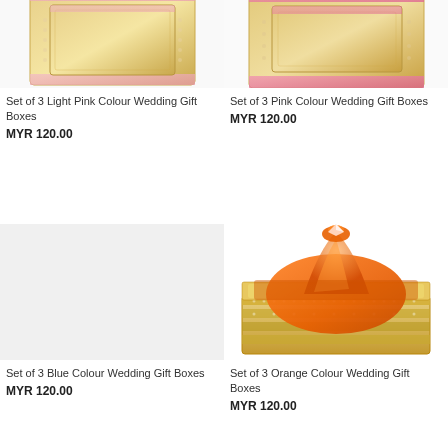[Figure (photo): Set of 3 Light Pink Colour Wedding Gift Boxes - decorative rhinestone-covered boxes, top portion visible]
Set of 3 Light Pink Colour Wedding Gift Boxes
MYR 120.00
[Figure (photo): Set of 3 Pink Colour Wedding Gift Boxes - decorative rhinestone-covered boxes, top portion visible]
Set of 3 Pink Colour Wedding Gift Boxes
MYR 120.00
[Figure (photo): Set of 3 Blue Colour Wedding Gift Boxes - placeholder grey image]
Set of 3 Blue Colour Wedding Gift Boxes
MYR 120.00
[Figure (photo): Set of 3 Orange Colour Wedding Gift Boxes - rhinestone box with orange organza wrap on top]
Set of 3 Orange Colour Wedding Gift Boxes
MYR 120.00